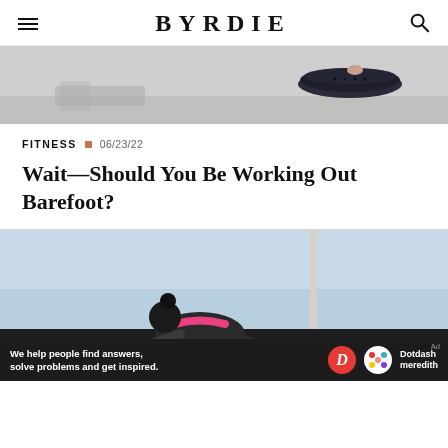BYRDIE
[Figure (photo): Top portion of fitness article image showing gym equipment including a dark circular balance board on a surface, partially visible]
FITNESS  06/23/22
Wait—Should You Be Working Out Barefoot?
[Figure (photo): Photo of a Black woman in athletic wear (pink sports bra and black top) doing a workout outdoors against a light blue sky, leaning forward with a pole/bar visible in background]
We help people find answers, solve problems and get inspired.  Dotdash meredith